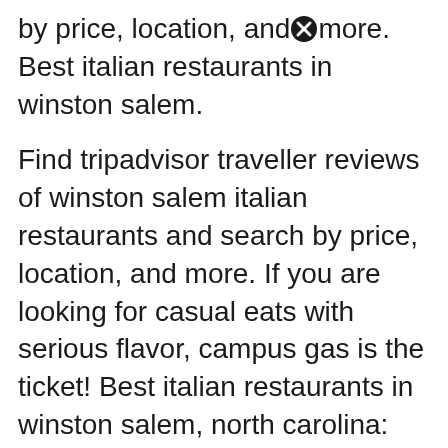by price, location, and more. Best italian restaurants in winston salem.
Find tripadvisor traveller reviews of winston salem italian restaurants and search by price, location, and more. If you are looking for casual eats with serious flavor, campus gas is the ticket! Best italian restaurants in winston salem, north carolina:
10:00 am est january 21, 2020 3443 robinhood road suite b, winston salem, nc, 27106. After researching several restaurants in the area as a potential venue for a wedding rehearsal dinner, my family and friends (36 of us ).
Veal saltembuca ( my favorite), veal